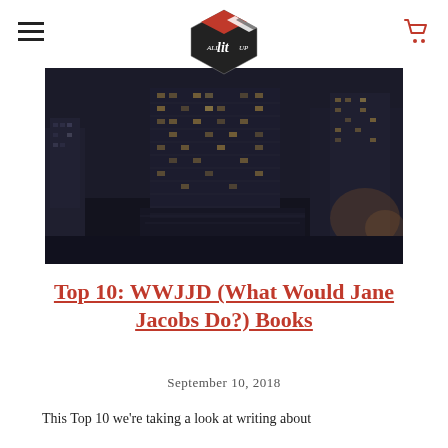All Lit Up — navigation header with hamburger menu, logo, and cart icon
[Figure (photo): Nighttime aerial view of a city with tall buildings lit up, dark moody atmosphere, urban skyline photo]
Top 10: WWJJD (What Would Jane Jacobs Do?) Books
September 10, 2018
This Top 10 we're taking a look at writing about